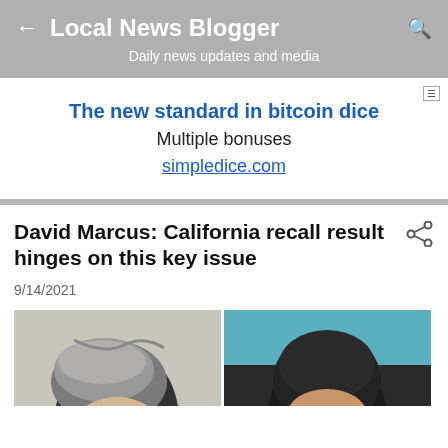Local News Blogger
Daily news updates and media
[Figure (screenshot): Advertisement banner: 'The new standard in bitcoin dice', 'Multiple bonuses', 'simpledice.com']
David Marcus: California recall result hinges on this key issue
9/14/2021
[Figure (photo): Two photos side by side: left shows top of a man's head with silver hair, right shows top of a man's head with dark hair against blue background]